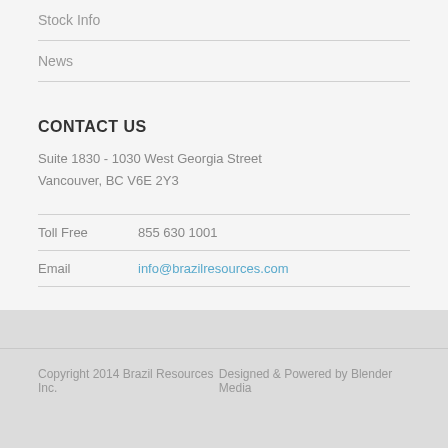Stock Info
News
CONTACT US
Suite 1830 - 1030 West Georgia Street
Vancouver, BC V6E 2Y3
Toll Free    855 630 1001
Email    info@brazilresources.com
Copyright 2014 Brazil Resources Inc.    Designed & Powered by Blender Media